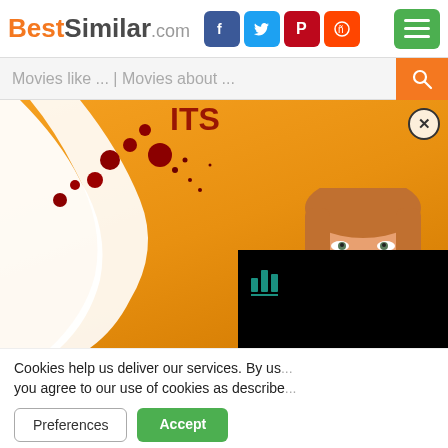BestSimilar.com
Movies like ... | Movies about ...
[Figure (illustration): Movie poster artwork showing a figure in white clothing with red rose/blood splatters on an orange/yellow background, with a blonde woman's face visible in lower right]
Cookies help us deliver our services. By us... you agree to our use of cookies as describe...
Preferences
Accept